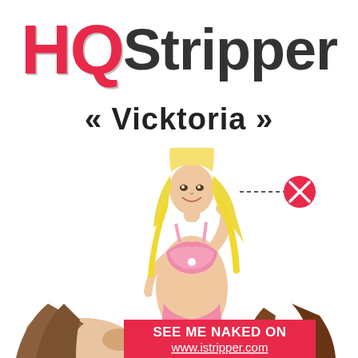HQStripper
« Vicktoria »
[Figure (photo): Promotional advertisement for HQStripper / istripper.com featuring a blonde woman named Vicktoria in pink lingerie, with a dashed line pointing to a red X close button, and a second figure partially visible at the bottom. Red CTA banner reads SEE ME NAKED ON www.istripper.com]
SEE ME NAKED ON www.istripper.com